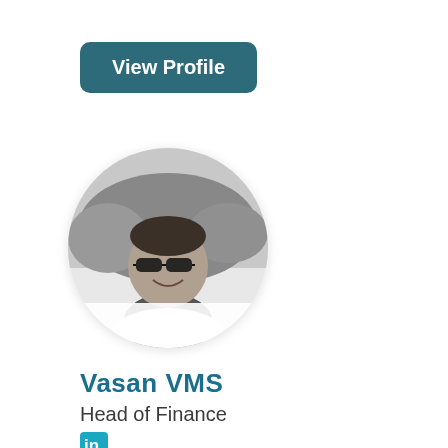View Profile
[Figure (photo): Circular profile photo of Vasan VMS, a man wearing glasses, shown in black and white, smiling, outdoors]
Vasan VMS
Head of Finance
[Figure (logo): LinkedIn 'in' icon in teal/cyan color]